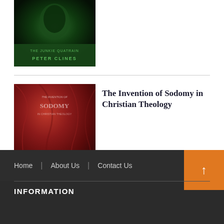[Figure (photo): Book cover of 'The Junkie Quatrain' by Peter Clines, dark green background with shadowed face image]
[Figure (photo): Book cover of 'The Invention of Sodomy in Christian Theology', dark red/crimson fabric or drapery background]
The Invention of Sodomy in Christian Theology
Home | About Us | Contact Us
INFORMATION